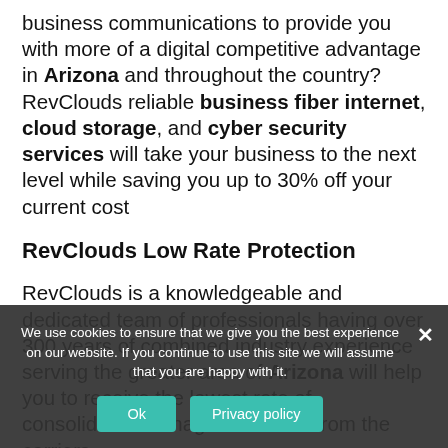business communications to provide you with more of a digital competitive advantage in Arizona and throughout the country? RevClouds reliable business fiber internet, cloud storage, and cyber security services will take your business to the next level while saving you up to 30% off your current cost
RevClouds Low Rate Protection
RevClouds is a knowledgeable and dedicated team of professionals having over 300 years of combined industry experience serving the greater area of Arizona will help you to receive the lowest rate of consolidated managed services from the carriers.
Let our knowledgeable and dedicated team of professionals rev up your business. If you are ready to reduce your
We use cookies to ensure that we give you the best experience on our website. If you continue to use this site we will assume that you are happy with it.